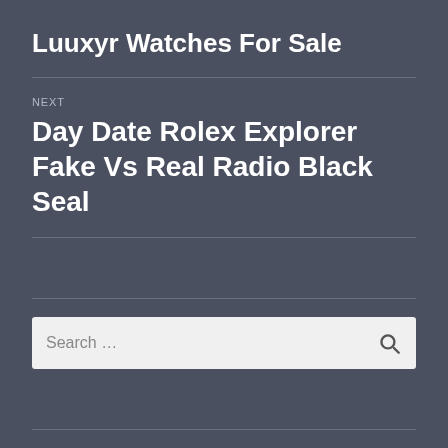Luuxyr Watches For Sale
NEXT
Day Date Rolex Explorer Fake Vs Real Radio Black Seal
Search ...
RECENT POSTS